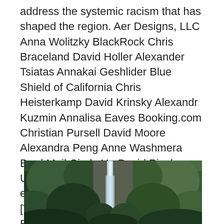address the systemic racism that has shaped the region. Aer Designs, LLC Anna Wolitzky BlackRock Chris Braceland David Holler Alexander Tsiatas Annakai Geshlider Blue Shield of California Chris Heisterkamp David Krinsky Alexandr Kuzmin Annalisa Eaves Booking.com Christian Pursell David Moore Alexandra Peng Anne Washmera Brad Mail Cindy Hu David Pinch Updated Expect class and Expect example to work with Java 1.7 [Thanks Chris Heisterkamp!] Added Expect method for long primitive. 0.13 (2012-04-19) Added matchers: toContain, toContainExactly, toBeEmpty, and toNumber for Sets, toNumber for Iterables.
[Figure (photo): Partial view of a waterfall surrounded by dense green forest and trees, cropped at the bottom of the page.]